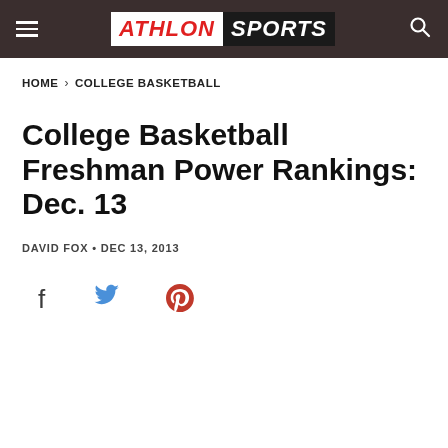ATHLON SPORTS
HOME > COLLEGE BASKETBALL
College Basketball Freshman Power Rankings: Dec. 13
DAVID FOX • DEC 13, 2013
[Figure (other): Social share icons: Facebook, Twitter, Pinterest]